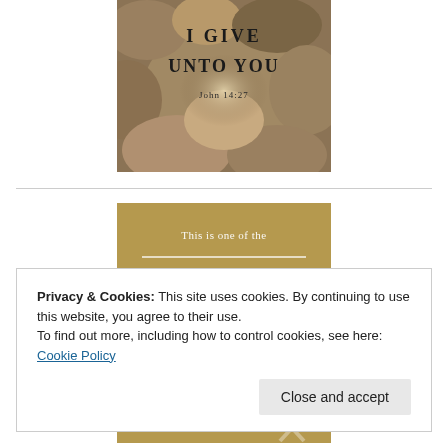[Figure (illustration): Image of stones/rocks background with text overlay: 'I GIVE UNTO YOU' and 'John 14:27' in white/dark text on a rocky/water background]
[Figure (illustration): Gold/tan badge image with text: 'This is one of the 100 Top Christian Blogs' with a ribbon/award icon on the right side]
Privacy & Cookies: This site uses cookies. By continuing to use this website, you agree to their use.
To find out more, including how to control cookies, see here: Cookie Policy
Close and accept